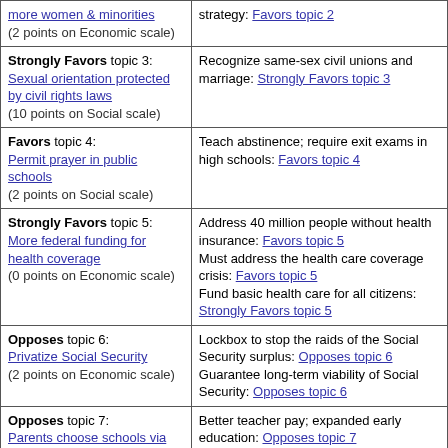| Position | Quotes |
| --- | --- |
| Require companies to hire more women & minorities (2 points on Economic scale) | strategy: Favors topic 2 |
| Strongly Favors topic 3: Sexual orientation protected by civil rights laws (10 points on Social scale) | Recognize same-sex civil unions and marriage: Strongly Favors topic 3 |
| Favors topic 4: Permit prayer in public schools (2 points on Social scale) | Teach abstinence; require exit exams in high schools: Favors topic 4 |
| Strongly Favors topic 5: More federal funding for health coverage (0 points on Economic scale) | Address 40 million people without health insurance: Favors topic 5
Must address the health care coverage crisis: Favors topic 5
Fund basic health care for all citizens: Strongly Favors topic 5 |
| Opposes topic 6: Privatize Social Security (2 points on Economic scale) | Lockbox to stop the raids of the Social Security surplus: Opposes topic 6
Guarantee long-term viability of Social Security: Opposes topic 6 |
| Opposes topic 7: Parents choose schools via vouchers (2 points on Social scale) | Better teacher pay; expanded early education: Opposes topic 7 |
| Strongly Favors topic 8: Death Penalty (0 points on Social scale) | Support death penalty; ban racial profiling: Strongly Favors topic 8 |
| Strongly Favors topic 9: |  |